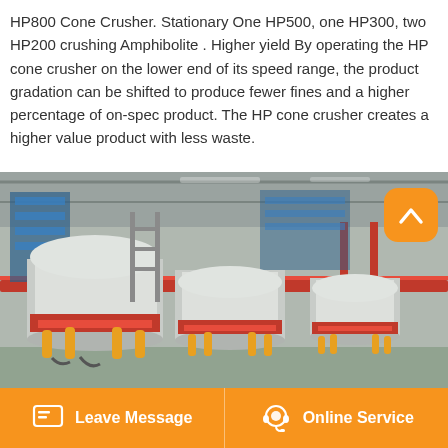HP800 Cone Crusher. Stationary One HP500, one HP300, two HP200 crushing Amphibolite . Higher yield By operating the HP cone crusher on the lower end of its speed range, the product gradation can be shifted to produce fewer fines and a higher percentage of on-spec product. The HP cone crusher creates a higher value product with less waste.
[Figure (photo): Industrial factory floor showing multiple large HP cone crushers in white and red, arranged in a row inside a large manufacturing facility with overhead cranes and steel structure visible.]